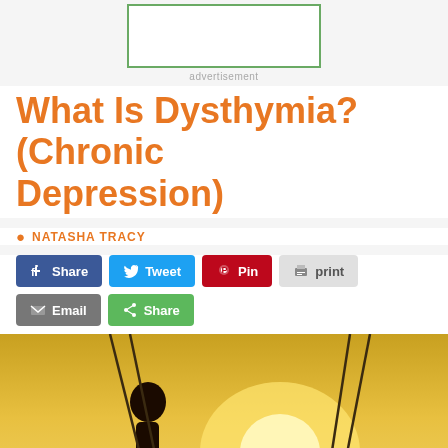[Figure (other): Advertisement placeholder box with green border]
advertisement
What Is Dysthymia? (Chronic Depression)
NATASHA TRACY
[Figure (other): Social sharing buttons: Share (Facebook), Tweet, Pin, print, Email, Share (generic)]
[Figure (photo): Person sitting on a swing, silhouetted against a golden sunset over water, with swing chains visible on both sides]